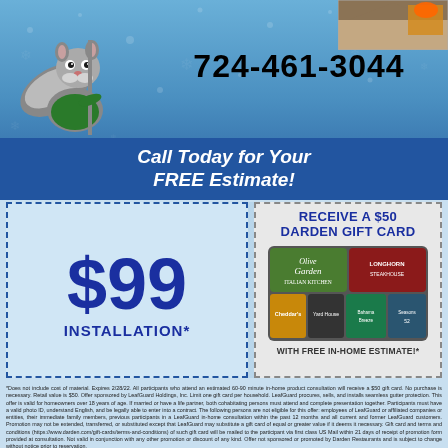[Figure (illustration): Blue background promotional flyer for LeafGuard gutter installation service featuring a squirrel mascot, phone number, $99 installation coupon, and $50 Darden gift card offer]
724-461-3044
Call Today for Your FREE Estimate!
$99 INSTALLATION*
RECEIVE A $50 DARDEN GIFT CARD
WITH FREE IN-HOME ESTIMATE!*
*Does not include cost of material. Expires 2/28/22. All participants who attend an estimated 60-90 minute in-home product consultation will receive a $50 gift card. No purchase is necessary. Retail value is $50. Offer sponsored by LeafGuard Holdings, Inc. Limit one gift card per household. LeafGuard procures, sells, and installs seamless gutter protection. This offer is valid for homeowners over 18 years of age. If married or have a life partner, both cohabitating persons must attend and complete presentation together. Participants must have a valid photo ID, understand English, and be legally able to enter into a contract. The following persons are not eligible for this offer: employees of LeafGuard or affiliated companies or entities, their immediate family members, previous participants in a LeafGuard in-home consultation within the past 12 months and all current and former LeafGuard customers. Promotion may not be extended, transferred, or substituted except that LeafGuard may substitute a gift card of equal or greater value if it deems it necessary. Gift card and terms and conditions (https://www.darden.com/gift-cards/terms-and-conditions) of such gift card will be mailed to the participant via first class US Mail within 21 days of receipt of promotion form provided at consultation. Not valid in conjunction with any other promotion or discount of any kind. Offer not sponsored or promoted by Darden Restaurants and is subject to change without notice prior to reservation.